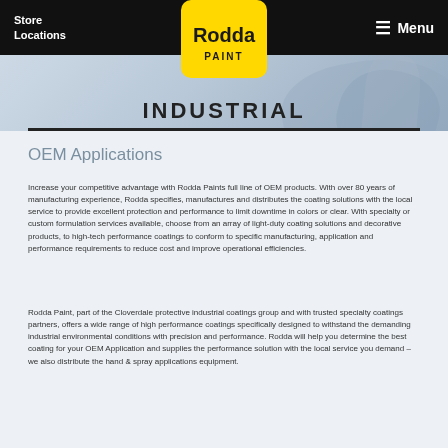Store Locations   Rodda Paint   Menu
[Figure (logo): Rodda Paint logo — yellow rounded-rectangle badge with 'Rodda' in bold black text and 'PAINT' below in smaller text]
INDUSTRIAL
OEM Applications
Increase your competitive advantage with Rodda Paints full line of OEM products. With over 80 years of manufacturing experience, Rodda specifies, manufactures and distributes the coating solutions with the local service to provide excellent protection and performance to limit downtime in colors or clear. With specialty or custom formulation services available, choose from an array of light-duty coating solutions and decorative products, to high-tech performance coatings to conform to specific manufacturing, application and performance requirements to reduce cost and improve operational efficiencies.
Rodda Paint, part of the Cloverdale protective industrial coatings group and with trusted specialty coatings partners, offers a wide range of high performance coatings specifically designed to withstand the demanding industrial environmental conditions with precision and performance. Rodda will help you determine the best coating for your OEM Application and supplies the performance solution with the local service you demand – we also distribute the hand & spray applications equipment.